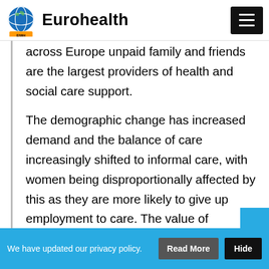Eurohealth
across Europe unpaid family and friends are the largest providers of health and social care support.
The demographic change has increased demand and the balance of care increasingly shifted to informal care, with women being disproportionally affected by this as they are more likely to give up employment to care. The value of informal care...
We have updated our privacy policy. Read More Hide